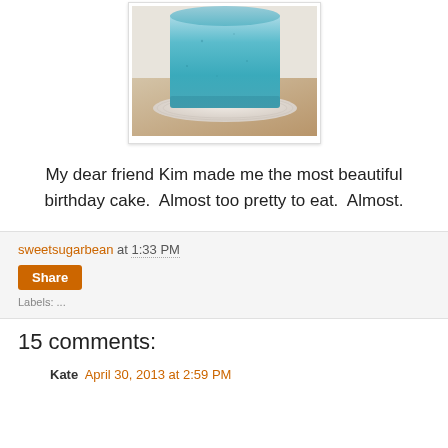[Figure (photo): A blue cylindrical birthday cake on a white plate, photographed from slightly above, sitting on a warm brown surface. The cake has a teal/turquoise blue frosting.]
My dear friend Kim made me the most beautiful birthday cake.  Almost too pretty to eat.  Almost.
sweetsugarbean at 1:33 PM
Share
15 comments:
Kate  April 30, 2013 at 2:59 PM